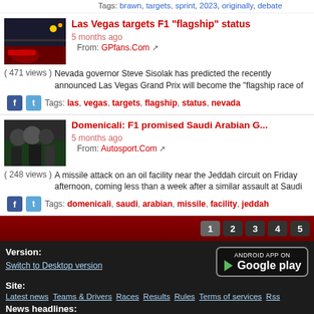Tags: brawn, targets, sprint, 2023, originally, debate
[Figure (photo): Night racing photo with F1 car and city lights]
Las Vegas targets F1 "flagship" status
5 months ago
From: GPfans.Com
( 471 views ) Nevada governor Steve Sisolak has predicted the recently announced Las Vegas Grand Prix will become the "flagship race of
Tags: las, vegas, targets, flagship, status, nevada
[Figure (photo): Group of people at F1 event]
Domenicali: F1 promised Saudi Arabian G...
5 months ago
From: Autosport.Com
( 248 views ) A missile attack on an oil facility near the Jeddah circuit on Friday afternoon, coming less than a week after a similar assault at Saudi
Tags: domenicali, saudi, arabian, missile, facility, jeddah
1 2 3 4 5
Version: Switch to Desktop version | ANDROID APP ON Google play | Site: Latest news Teams & Drivers Races Results Rules Terms of services Rss | News headlines: Latest news Past 24 news Last week news Last month news Most popular news